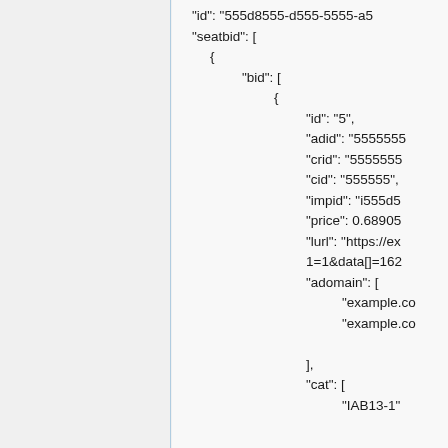"id": "555d8555-d555-5555-a5..."
"seatbid": [
  {
    "bid": [
      {
        "id": "5",
        "adid": "5555555...
        "crid": "5555555...
        "cid": "555555",
        "impid": "i555d5...
        "price": 0.68905...
        "lurl": "https://ex...
        1=1&data[]=162...
        "adomain": [
          "example.co...
          "example.co...
        ],
        "cat": [
          "IAB13-1"